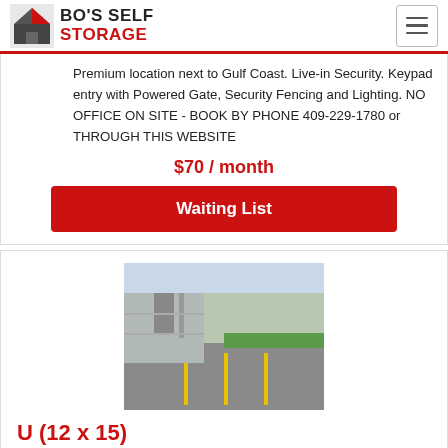BO'S SELF STORAGE
Premium location next to Gulf Coast. Live-in Security. Keypad entry with Powered Gate, Security Fencing and Lighting. NO OFFICE ON SITE - BOOK BY PHONE 409-229-1780 or THROUGH THIS WEBSITE
$70 / month
Waiting List
[Figure (photo): Outdoor uncovered vehicle storage parking spots on black asphalt with yellow lines, near a gray building]
U (12 x 15)
(limited availability) Uncovered Vehicle/Jet Ski/small car Storage on black top Asphalt. Up to 15' Length. Premium location next to Gulf Coast. Security. Security. Has good security with